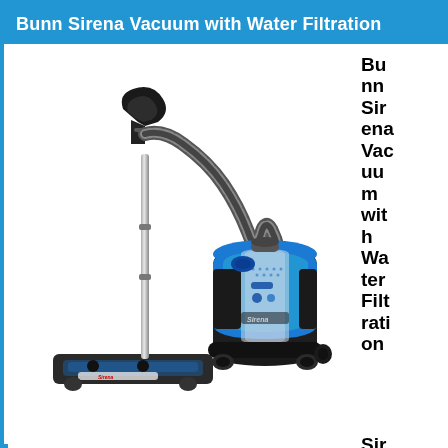Bunn Sirena Vacuum with Water Filtration
[Figure (photo): Bunn Sirena vacuum cleaner with water filtration system. A canister-style vacuum in blue and dark gray/black with a flexible corrugated hose, telescoping metal wand, and motorized floor brush attachment. The canister unit has blue metallic panels with control buttons on the front.]
Bunn Sirena Vacuum with Water Filtration
Sir